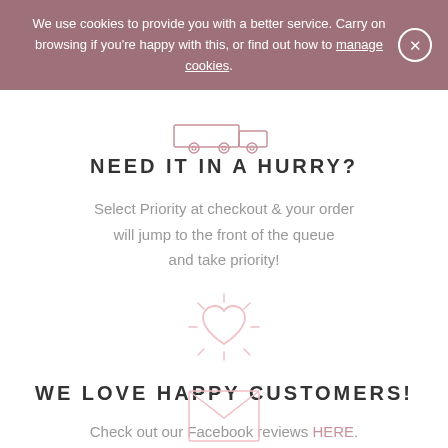We use cookies to provide you with a better service. Carry on browsing if you're happy with this, or find out how to manage cookies.
[Figure (illustration): Line drawing of a delivery truck icon in white/pink outline style]
NEED IT IN A HURRY?
Select Priority at checkout & your order will jump to the front of the queue and take priority!
[Figure (illustration): Line drawing of a glowing heart icon with rays, in light pink outline style]
WE LOVE HAPPY CUSTOMERS!
Check out our Facebook reviews HERE.
[Figure (illustration): Line drawing of an envelope icon at the bottom, in light pink outline style]